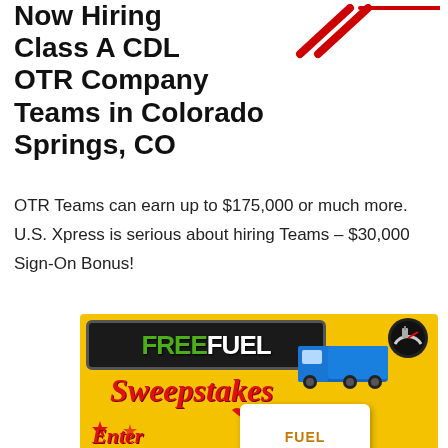Now Hiring Class A CDL OTR Company Teams in Colorado Springs, CO
OTR Teams can earn up to $175,000 or much more. U.S. Xpress is serious about hiring Teams – $30,000 Sign-On Bonus!
[Figure (illustration): FREE FUEL Sweepstakes promotional image with a blue semi truck, speedometer, fuel card gift, Enter to Win text, $500 prize, and 20 Available banner on a yellow background]